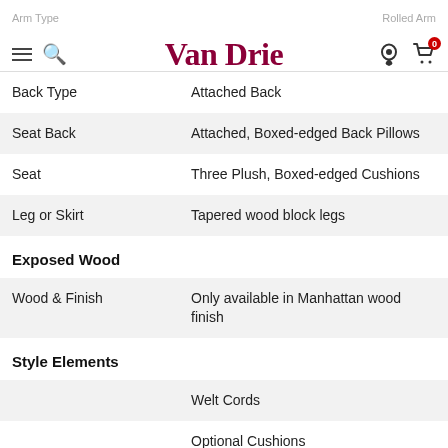Van Drie — navigation header with menu, search, logo, location and cart icons
| Attribute | Value |
| --- | --- |
| Back Type | Attached Back |
| Seat Back | Attached, Boxed-edged Back Pillows |
| Seat | Three Plush, Boxed-edged Cushions |
| Leg or Skirt | Tapered wood block legs |
| Exposed Wood |  |
| Wood & Finish | Only available in Manhattan wood finish |
| Style Elements |  |
|  | Welt Cords |
|  | Optional Cushions |
|  | Attached Back |
|  | Exposed Wood Leg |
| Construction & Warranty |  |
| Frame | 5/4 hardwood rails; frames are 17/16... |